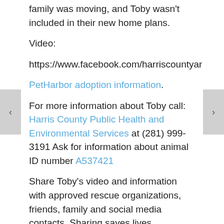family was moving, and Toby wasn't included in their new home plans.
Video:
https://www.facebook.com/harriscountyar
PetHarbor adoption information.
For more information about Toby call: Harris County Public Health and Environmental Services at (281) 999-3191 Ask for information about animal ID number A537421
Share Toby's video and information with approved rescue organizations, friends, family and social media contacts. Sharing saves lives.